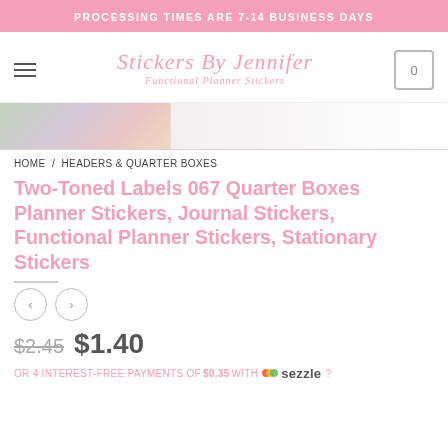PROCESSING TIMES ARE 7-14 BUSINESS DAYS
Stickers By Jennifer — Functional Planner Stickers
[Figure (photo): Decorative hero image strip with floral/sticker imagery]
HOME / HEADERS & QUARTER BOXES
Two-Toned Labels 067 Quarter Boxes Planner Stickers, Journal Stickers, Functional Planner Stickers, Stationary Stickers
$2.45  $1.40
OR 4 INTEREST-FREE PAYMENTS OF $0.35 WITH Sezzle ?